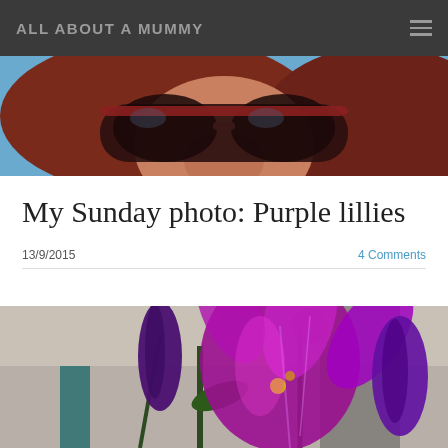ALL ABOUT A MUMMY
[Figure (photo): Close-up photo of a woman with long red hair wearing large sunglasses, cropped at nose level]
My Sunday photo: Purple lillies
13/9/2015
4 Comments
[Figure (photo): Close-up photo of purple lily flowers with buds, vibrant purple and magenta petals against a blurred indoor background]